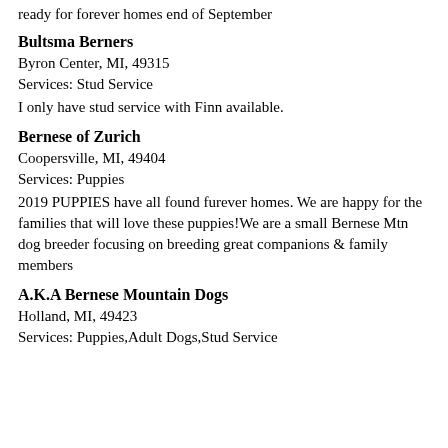ready for forever homes end of September
Bultsma Berners
Byron Center, MI, 49315
Services: Stud Service
I only have stud service with Finn available.
Bernese of Zurich
Coopersville, MI, 49404
Services: Puppies
2019 PUPPIES have all found furever homes. We are happy for the families that will love these puppies!We are a small Bernese Mtn dog breeder focusing on breeding great companions & family members
A.K.A Bernese Mountain Dogs
Holland, MI, 49423
Services: Puppies,Adult Dogs,Stud Service